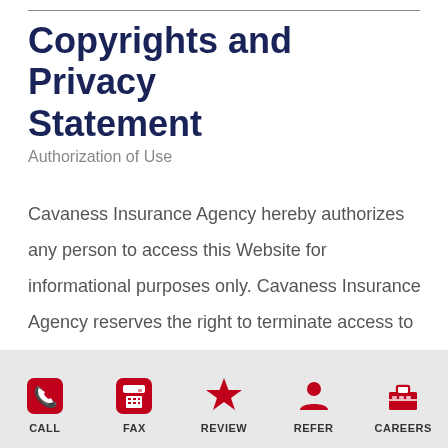Copyrights and Privacy Statement
Authorization of Use
Cavaness Insurance Agency hereby authorizes any person to access this Website for informational purposes only. Cavaness Insurance Agency reserves the right to terminate access to this Website at any time without notice. The data, information and material included in this
CALL | FAX | REVIEW | REFER | CAREERS